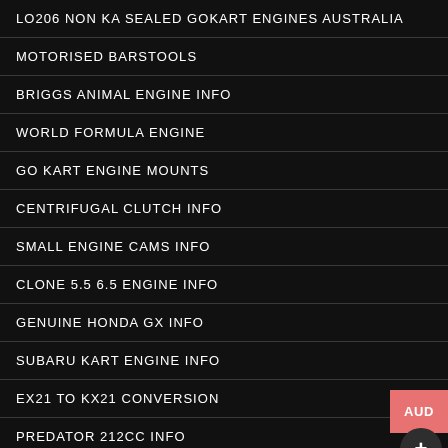LO206 NON KA SEALED GOKART ENGINES AUSTRALIA
MOTORISED BARSTOOLS
BRIGGS ANIMAL ENGINE INFO
WORLD FORMULA ENGINE
GO KART ENGINE MOUNTS
CENTRIFUGAL CLUTCH INFO
SMALL ENGINE CAMS INFO
CLONE 5.5 6.5 ENGINE INFO
GENUINE HONDA GX INFO
SUBARU KART ENGINE INFO
EX21 TO KX21 CONVERSION
PREDATOR 212CC INFO